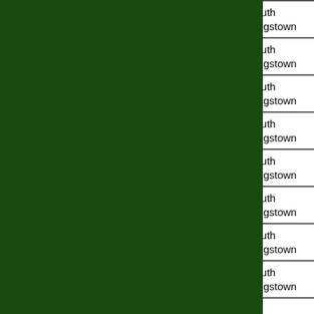| # | Bird | Road | Town |
| --- | --- | --- | --- |
| 21 | Wren | Saugatucket Rd. | South Kingstown |
| 20 | American Robin | Saugatucket Rd. | South Kingstown |
| 19 | Brown Thrasher | Saugatucket Rd. | South Kingstown |
| 18 | Song Sparrow | Saugatucket Rd. | South Kingstown |
| 17 | White-throated Sparrow | Saugatucket Rd. | South Kingstown |
| 16 | Dark-eyed Junco | Saugatucket Rd. | South Kingstown |
| 15 | Northern Cardinal | Saugatucket Rd. | South Kingstown |
| 14 | Red-winged Blackbird | Saugatucket Rd. | South Kingstown |